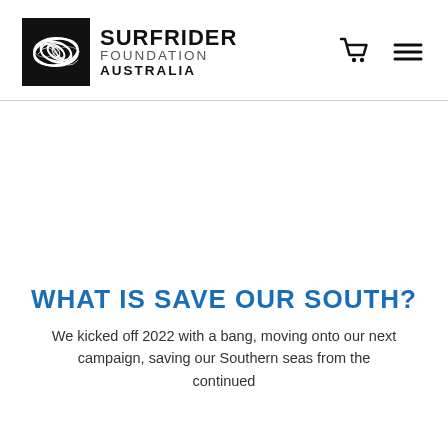[Figure (logo): Surfrider Foundation Australia logo: black wave swirl icon beside 'SURFRIDER FOUNDATION AUSTRALIA' text, plus shopping cart and hamburger menu icons]
WHAT IS SAVE OUR SOUTH?
We kicked off 2022 with a bang, moving onto our next campaign, saving our Southern seas from the continued